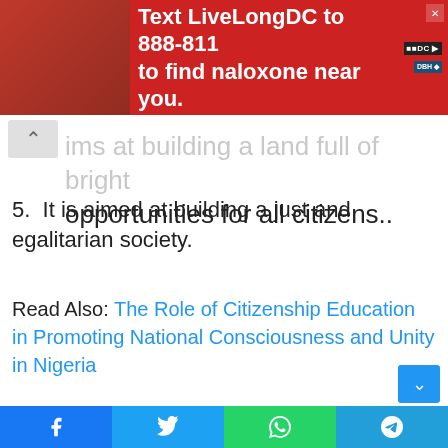[Figure (photo): Red advertisement banner: Text LiveLongDC to 888-811 to find naloxone near you, with syringe image on left and DC/DBH logos on right]
aims at building a land full of bright opportunities for all citizens..
5. It is aimed at building a just and egalitarian society.
Read Also: The Role of Citizenship Education in Promoting National Consciousness and Unity in Nigeria
Objectives of National Policy on Education in Nigeria
The following below are the objectives of the national policy on education in Nigeria